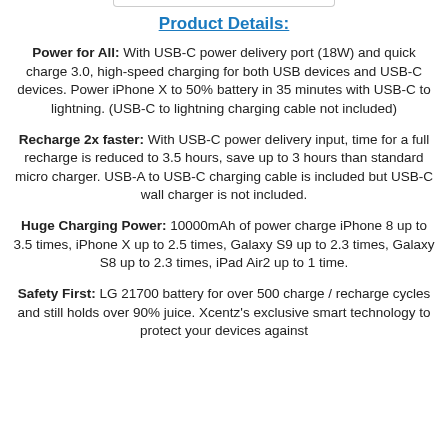Product Details:
Power for All: With USB-C power delivery port (18W) and quick charge 3.0, high-speed charging for both USB devices and USB-C devices. Power iPhone X to 50% battery in 35 minutes with USB-C to lightning. (USB-C to lightning charging cable not included)
Recharge 2x faster: With USB-C power delivery input, time for a full recharge is reduced to 3.5 hours, save up to 3 hours than standard micro charger. USB-A to USB-C charging cable is included but USB-C wall charger is not included.
Huge Charging Power: 10000mAh of power charge iPhone 8 up to 3.5 times, iPhone X up to 2.5 times, Galaxy S9 up to 2.3 times, Galaxy S8 up to 2.3 times, iPad Air2 up to 1 time.
Safety First: LG 21700 battery for over 500 charge / recharge cycles and still holds over 90% juice. Xcentz's exclusive smart technology to protect your devices against